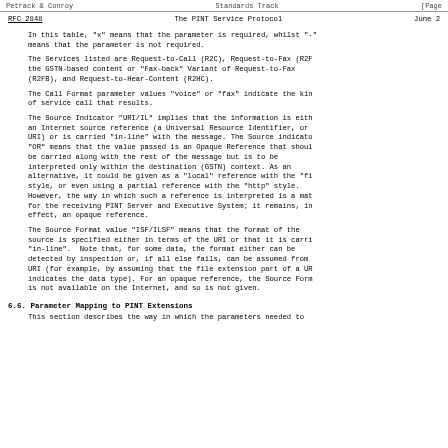Petrack & Conroy                    Standards Track                    [Page
RFC 2848                    The PINT Service Protocol                    June 2
In this table, "x" means that the parameter is required, whilst "-" means that the parameter is not required.
The Services listed are Request-to-Call (R2C), Request-to-Fax (R2F), the GSTN-based content or "Fax-back" Variant of Request-to-Fax (R2FB), and Request-to-Hear-Content (R2HC).
The Call Format parameter values "voice" or "fax" indicate the kind of service call that results.
The Source Indicator "URI/IL" implies that the information is either an Internet source reference (a Universal Resource Identifier, or URI) or is carried "in-line" with the message. The Source indicator "OR" means that the value passed is an Opaque Reference that should be carried along with the rest of the message but is to be interpreted only within the destination (GSTN) context. As an alternative, it could be given as a "local" reference with the "fi" style, or even using a partial reference with the "http" style. However, the way in which such a reference is interpreted is a matter for the receiving PINT Server and Executive System; it remains, in effect, an opaque reference.
The Source Format value "ISF/ILSF" means that the format of the source is specified either in terms of the URI or that it is carried "in-line".  Note that, for some data, the format either can be detected by inspection or, if all else fails, can be assumed from the URI (for example, by assuming that the file extension part of a URI indicates the data type). For an opaque reference, the Source Format is not available on the Internet, and so is not given.
6.6. Parameter Mapping to PINT Extensions
This section describes the way in which the parameters needed to